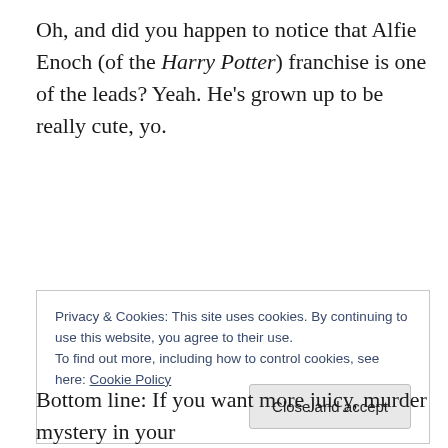Oh, and did you happen to notice that Alfie Enoch (of the Harry Potter) franchise is one of the leads? Yeah. He's grown up to be really cute, yo.
Privacy & Cookies: This site uses cookies. By continuing to use this website, you agree to their use. To find out more, including how to control cookies, see here: Cookie Policy
Bottom line: If you want more juicy, murder mystery in your